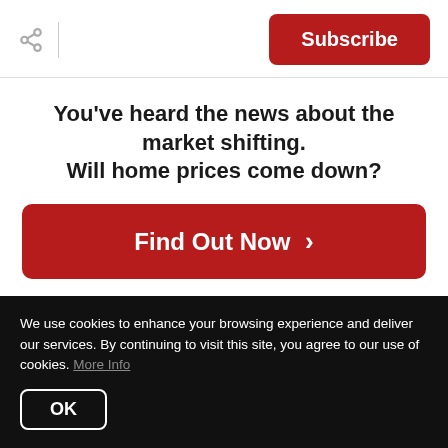Subscribe
You’ve heard the news about the market shifting. Will home prices come down?
Find Out Now ›
open houses?
It will likely take a lot of effort for you to sell your
We use cookies to enhance your browsing experience and deliver our services. By continuing to visit this site, you agree to our use of cookies. More Info
OK